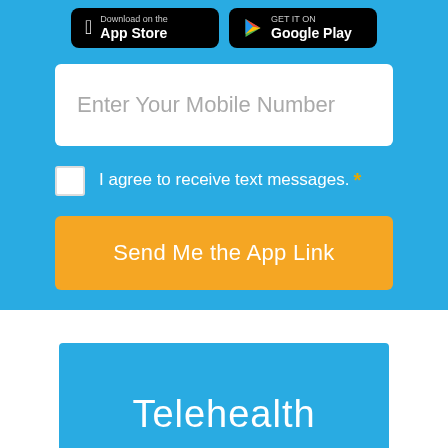[Figure (screenshot): App Store and Google Play store buttons on blue background]
Enter Your Mobile Number
I agree to receive text messages. *
Send Me the App Link
Telehealth